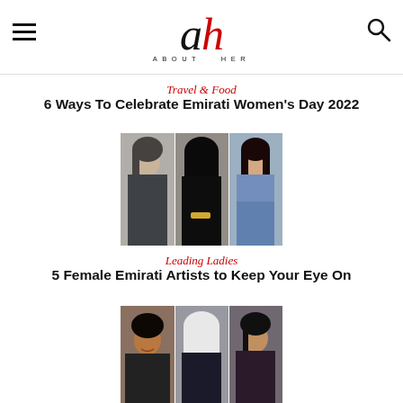About Her — logo with menu and search icons
Travel & Food
6 Ways To Celebrate Emirati Women's Day 2022
[Figure (photo): Collage of three women portraits for Emirati Women's Day article]
Leading Ladies
5 Female Emirati Artists to Keep Your Eye On
[Figure (photo): Collage of three women portraits for Female Emirati Artists article]